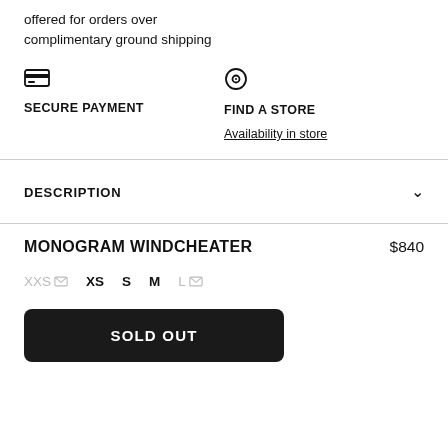offered for orders over
complimentary ground shipping
SECURE PAYMENT
FIND A STORE
Availability in store
DESCRIPTION
MONOGRAM WINDCHEATER
$840
XXS  XS  S  M  L
SOLD OUT